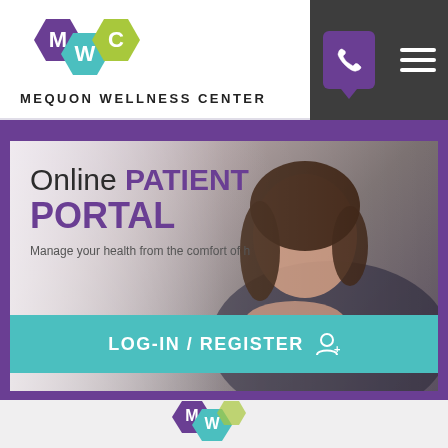[Figure (logo): Mequon Wellness Center logo with hexagonal M, W, C letter marks in purple, teal and green]
MEQUON WELLNESS CENTER
[Figure (photo): Website screenshot of online patient portal page. Woman lying down smiling at camera with a tablet. Text overlay reads 'Online PATIENT PORTAL' and 'Manage your health from the comfort of h...' with a teal LOG-IN / REGISTER button.]
Online PATIENT PORTAL
Manage your health from the comfort of h
LOG-IN / REGISTER
[Figure (logo): Partial Mequon Wellness Center logo at bottom of page, showing M and W hexagons]